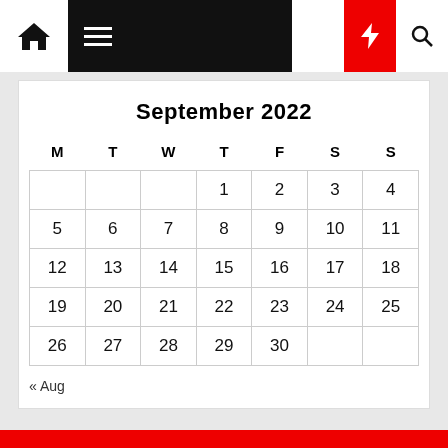Navigation bar with home, menu, moon, bolt, search icons
September 2022
| M | T | W | T | F | S | S |
| --- | --- | --- | --- | --- | --- | --- |
|  |  |  | 1 | 2 | 3 | 4 |
| 5 | 6 | 7 | 8 | 9 | 10 | 11 |
| 12 | 13 | 14 | 15 | 16 | 17 | 18 |
| 19 | 20 | 21 | 22 | 23 | 24 | 25 |
| 26 | 27 | 28 | 29 | 30 |  |  |
« Aug